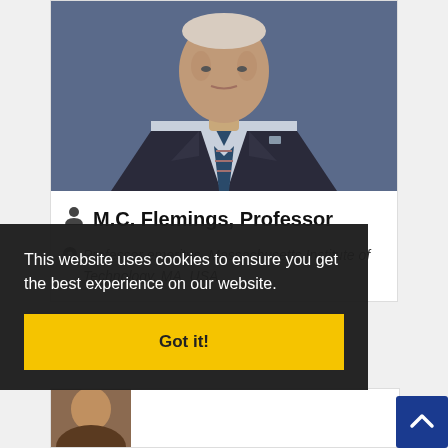[Figure (photo): Portrait photo of M.C. Flemings professor, showing an elderly man in a dark suit with a striped tie, cropped at chest level]
M.C. Flemings, Professor
Professor emeritus, Massachusetts Institute of Technology, MA, USA
This website uses cookies to ensure you get the best experience on our website. Got it!
[Figure (photo): Partially visible portrait photo of another person at the bottom of the page]